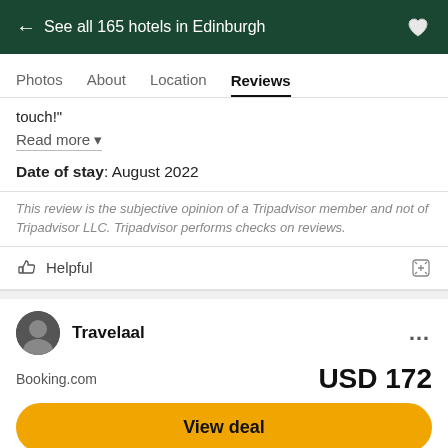← See all 165 hotels in Edinburgh
Photos  About  Location  Reviews
touch!"
Read more
Date of stay: August 2022
This review is the subjective opinion of a Tripadvisor member and not of Tripadvisor LLC. Tripadvisor performs checks on reviews.
Helpful
Travelaal
Booking.com
USD 172
View deal
Visit hotel website ↗